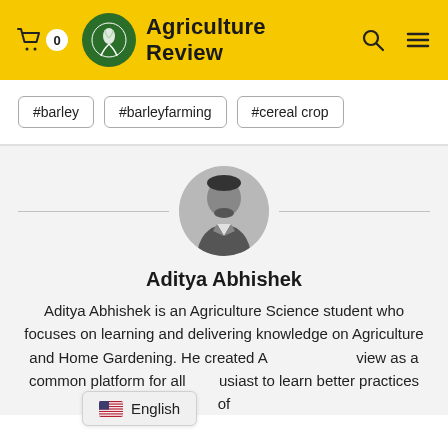Agriculture Review
#barley
#barleyfarming
#cereal crop
[Figure (photo): Circular profile photo of Aditya Abhishek, a man in a suit shown in black and white, side profile]
Aditya Abhishek
Aditya Abhishek is an Agriculture Science student who focuses on learning and delivering knowledge on Agriculture and Home Gardening. He created Agriculture Review as a common platform for all enthusiast to learn better practices of
English